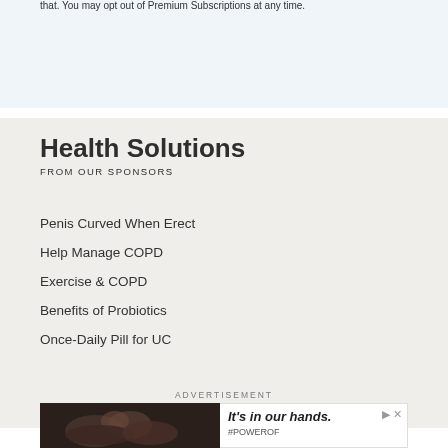that. You may opt out of Premium Subscriptions at any time.
Health Solutions
FROM OUR SPONSORS
Penis Curved When Erect
Help Manage COPD
Exercise & COPD
Benefits of Probiotics
Once-Daily Pill for UC
ADVERTISEMENT
[Figure (photo): Advertisement banner with baby image on left and 'It's in our hands.' text with #POWEROF hashtag on right]